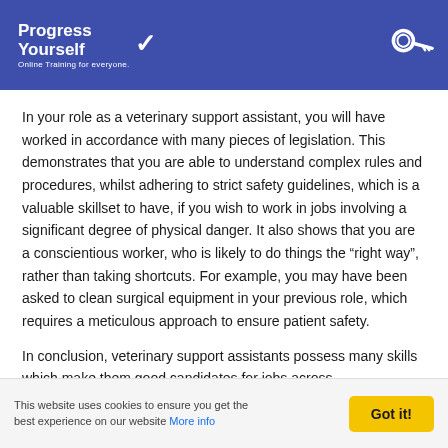Progress Yourself — Online Training for everyone.
In your role as a veterinary support assistant, you will have worked in accordance with many pieces of legislation. This demonstrates that you are able to understand complex rules and procedures, whilst adhering to strict safety guidelines, which is a valuable skillset to have, if you wish to work in jobs involving a significant degree of physical danger. It also shows that you are a conscientious worker, who is likely to do things the “right way”, rather than taking shortcuts. For example, you may have been asked to clean surgical equipment in your previous role, which requires a meticulous approach to ensure patient safety.
In conclusion, veterinary support assistants possess many skills which make them good candidates for jobs across
This website uses cookies to ensure you get the best experience on our website More info  Got it!